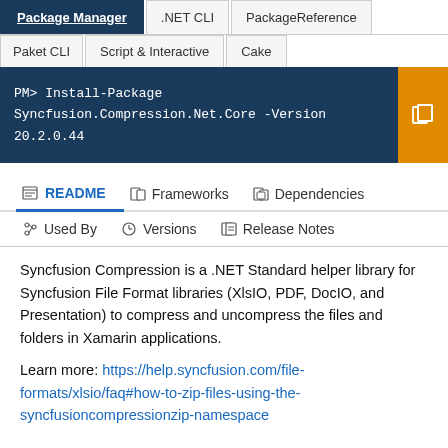[Figure (screenshot): NuGet package manager tab bar with Package Manager tab active, showing .NET CLI, PackageReference, Paket CLI, Script & Interactive, Cake tabs]
PM> Install-Package Syncfusion.Compression.Net.Core -Version 20.2.0.44
[Figure (screenshot): Navigation tabs: README (active), Frameworks, Dependencies, Used By, Versions, Release Notes]
Syncfusion Compression is a .NET Standard helper library for Syncfusion File Format libraries (XlsIO, PDF, DocIO, and Presentation) to compress and uncompress the files and folders in Xamarin applications.
Learn more: https://help.syncfusion.com/file-formats/xlsio/faq#how-to-zip-files-using-the-syncfusioncompressionzip-namespace